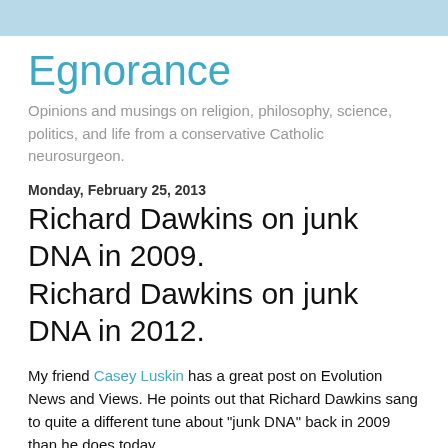Egnorance
Opinions and musings on religion, philosophy, science, politics, and life from a conservative Catholic neurosurgeon.
Monday, February 25, 2013
Richard Dawkins on junk DNA in 2009. Richard Dawkins on junk DNA in 2012.
My friend Casey Luskin has a great post on Evolution News and Views. He points out that Richard Dawkins sang to quite a different tune about "junk DNA" back in 2009 than he does today.
Dawkins in 2009:
"It stretches even their creative ingenuity to make a convincing reason why an intelligent designer